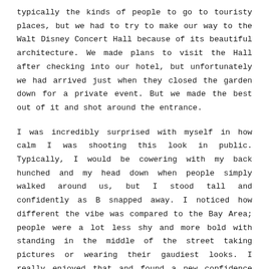typically the kinds of people to go to touristy places, but we had to try to make our way to the Walt Disney Concert Hall because of its beautiful architecture. We made plans to visit the Hall after checking into our hotel, but unfortunately we had arrived just when they closed the garden down for a private event. But we made the best out of it and shot around the entrance.
I was incredibly surprised with myself in how calm I was shooting this look in public. Typically, I would be cowering with my back hunched and my head down when people simply walked around us, but I stood tall and confidently as B snapped away. I noticed how different the vibe was compared to the Bay Area; people were a lot less shy and more bold with standing in the middle of the street taking pictures or wearing their gaudiest looks. I really enjoyed that and found a new confidence rush over me.